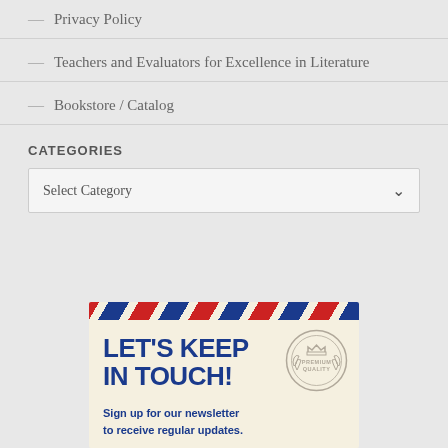— Privacy Policy
— Teachers and Evaluators for Excellence in Literature
— Bookstore / Catalog
CATEGORIES
Select Category
[Figure (illustration): Newsletter sign-up box with airmail-style stripe header, bold blue text 'LET'S KEEP IN TOUCH!', a premium quality stamp graphic, and subtitle 'Sign up for our newsletter to receive regular updates.']